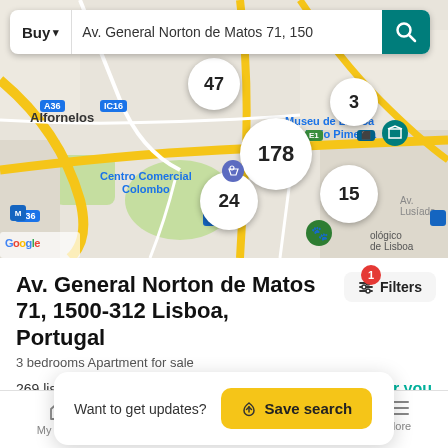[Figure (map): Google Maps view of Lisbon, Portugal area showing Alfornelos, Centro Comercial Colombo, Museu de Lisboa - Palácio Pimenta, with property count clusters: 47, 3, 178, 24, 15]
Av. General Norton de Matos 71, 1500-312 Lisboa, Portugal
3 bedrooms Apartment for sale
269 listings
Just for you
Want to get updates?  Save search
My Home  Search  Favorites  More